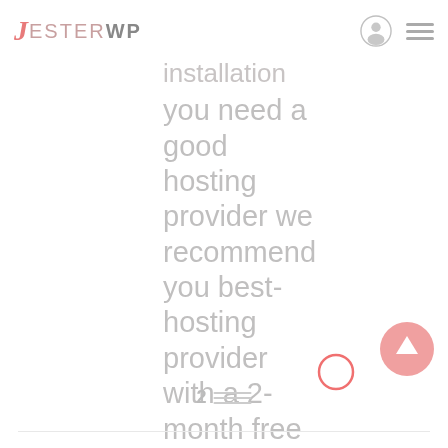JesterWP
installation you need a good hosting provider we recommend you best-hosting provider with a 2-month free subscription
[Figure (other): Pink circle annotation highlighting the word 'hosting' in the body text]
[Figure (other): Pink scroll-to-top button with upward arrow in the bottom right corner]
2